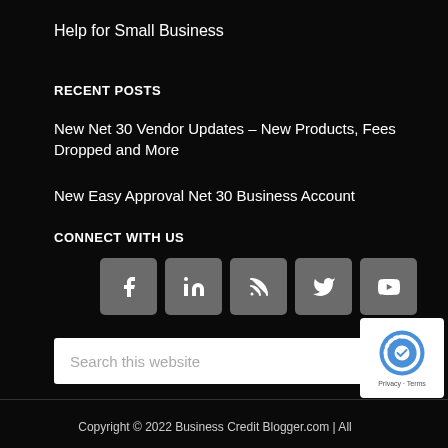Help for Small Business
RECENT POSTS
New Net 30 Vendor Updates – New Products, Fees Dropped and More
New Easy Approval Net 30 Business Account
CONNECT WITH US
[Figure (infographic): Row of five social media icon buttons: Facebook, LinkedIn, RSS, Twitter, YouTube]
Search this website
Copyright © 2022 Business Credit Blogger.com | All